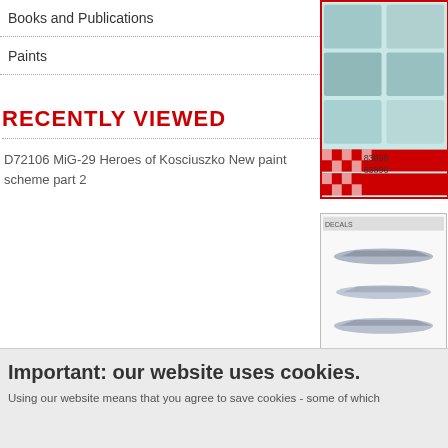Books and Publications
Paints
RECENTLY VIEWED
D72106 MiG-29 Heroes of Kosciuszko New paint scheme part 2
[Figure (photo): Product image with checkerboard pattern and pilot portraits, with text 83896 repeated]
[Figure (photo): Product sheet showing MiG-29 aircraft in various paint schemes]
Important: our website uses cookies.
Using our website means that you agree to save cookies - some of which